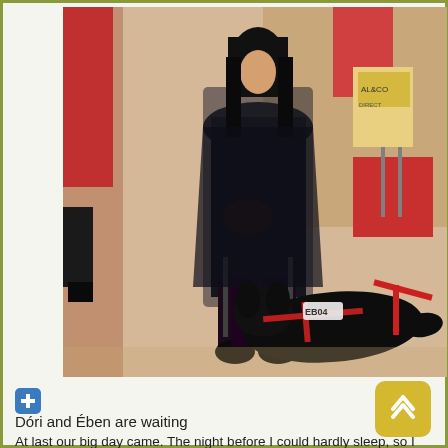[Figure (photo): A woman dressed in all black sitting on a chair with a black guide dog (wearing a red harness) lying on the floor in front of her, in an indoor setting with a wooden floor and red wall elements.]
Dóri and Ében are waiting
At last our big day came. The night before I could hardly sleep, so I got